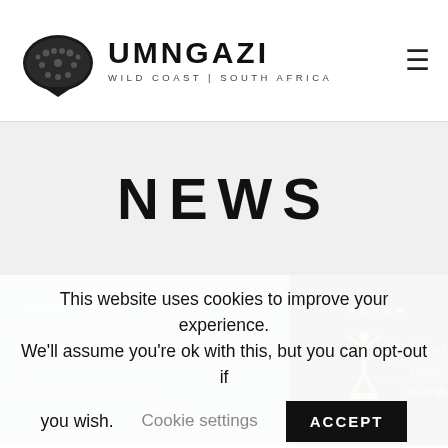UMNGAZI WILD COAST | SOUTH AFRICA
NEWS
[Figure (photo): Wide photo strip showing cloudy sky on left, World Luxury Hotel Awards logo/statue in center on black background, palm tree silhouette on right]
This website uses cookies to improve your experience. We'll assume you're ok with this, but you can opt-out if you wish. Cookie settings ACCEPT